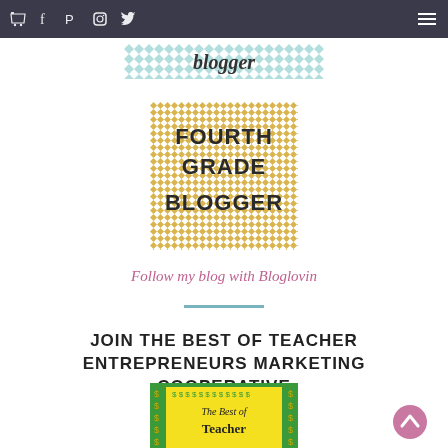Navigation bar with cart, facebook, pinterest, instagram, twitter icons and hamburger menu
[Figure (logo): Blogger banner with teal chevron pattern and cursive 'blogger' text]
[Figure (logo): Fourth Grade Blogger badge with gold chevron background and bold text reading FOURTH GRADE BLOGGER]
Follow my blog with Bloglovin
[Figure (other): Teal horizontal divider line]
JOIN THE BEST OF TEACHER ENTREPRENEURS MARKETING COOPERATIVE
[Figure (logo): The Best of Teacher Entrepreneurs badge with green border and yellow background, dollar signs around edges, italic title text]